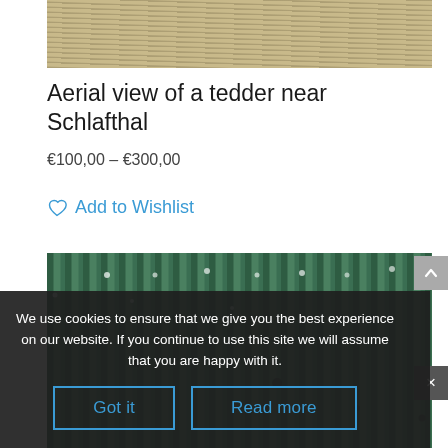[Figure (photo): Aerial view of a tedder field — textured beige/tan straw-colored crop texture seen from above]
Aerial view of a tedder near Schlafthal
€100,00 – €300,00
Add to Wishlist
[Figure (photo): Aerial photograph of a green crop field (corn or similar) with rows of plants and small light reflections visible]
We use cookies to ensure that we give you the best experience on our website. If you continue to use this site we will assume that you are happy with it.